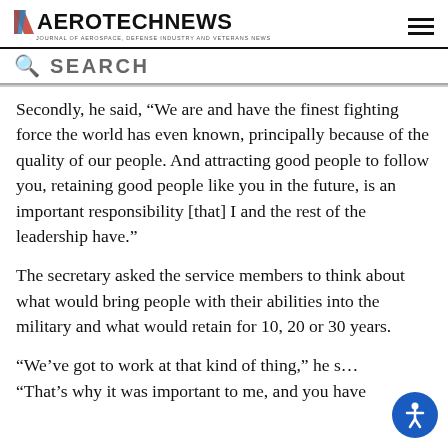AEROTECHNEWS — JOURNAL OF AEROSPACE, DEFENSE INDUSTRY AND VETERANS NEWS
Secondly, he said, “We are and have the finest fighting force the world has even known, principally because of the quality of our people. And attracting good people to follow you, retaining good people like you in the future, is an important responsibility [that] I and the rest of the leadership have.”
The secretary asked the service members to think about what would bring people with their abilities into the military and what would retain for 10, 20 or 30 years.
“We’ve got to work at that kind of thing,” he s… “That’s why it was important to me, and you have…